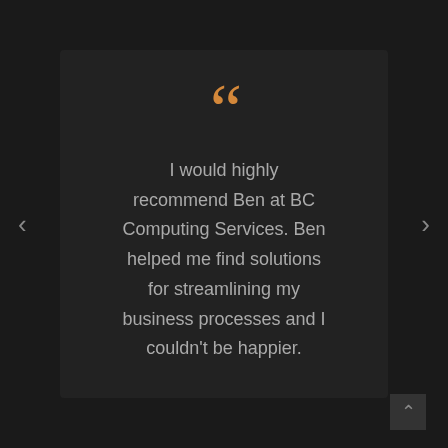[Figure (other): Large orange opening double quotation mark decorative element]
I would highly recommend Ben at BC Computing Services. Ben helped me find solutions for streamlining my business processes and I couldn't be happier.